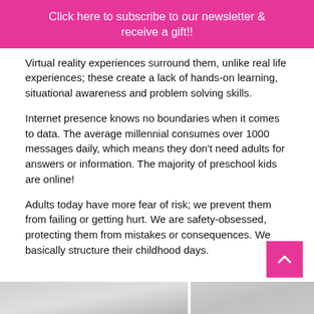Click here to subscribe to our newsletter & receive a gift!!
Virtual reality experiences surround them, unlike real life experiences; these create a lack of hands-on learning, situational awareness and problem solving skills.
Internet presence knows no boundaries when it comes to data. The average millennial consumes over 1000 messages daily, which means they don't need adults for answers or information. The majority of preschool kids are online!
Adults today have more fear of risk; we prevent them from failing or getting hurt. We are safety-obsessed, protecting them from mistakes or consequences. We basically structure their childhood days.
[Figure (photo): Photo strip at bottom of page showing light grey fabric or surface texture, split into two panels]